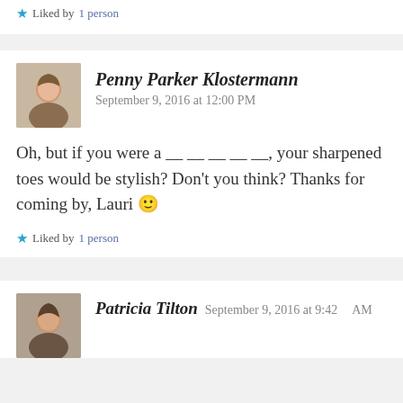★ Liked by 1 person
Penny Parker Klostermann
September 9, 2016 at 12:00 PM
Oh, but if you were a __ __ __ __ __, your sharpened toes would be stylish? Don't you think? Thanks for coming by, Lauri 🙂
★ Liked by 1 person
Patricia Tilton   September 9, 2016 at 9:42 AM